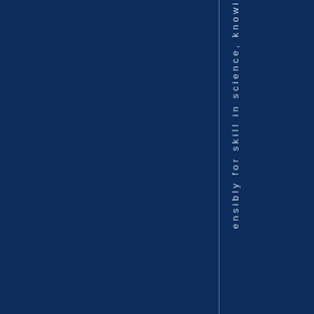ensibly for skill in science, knowi